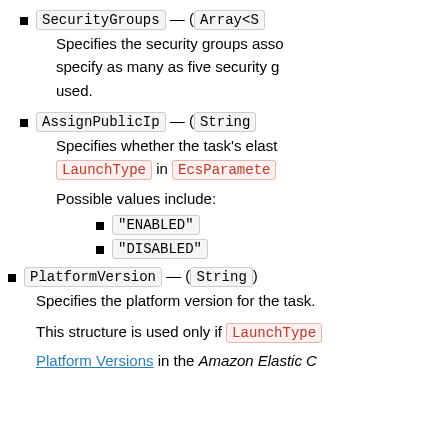SecurityGroups — (Array<S
Specifies the security groups asso specify as many as five security g used.
AssignPublicIp — (String
Specifies whether the task's elast LaunchType in EcsParamete
Possible values include:
"ENABLED"
"DISABLED"
PlatformVersion — (String)
Specifies the platform version for the task.
This structure is used only if LaunchType
Platform Versions in the Amazon Elastic C